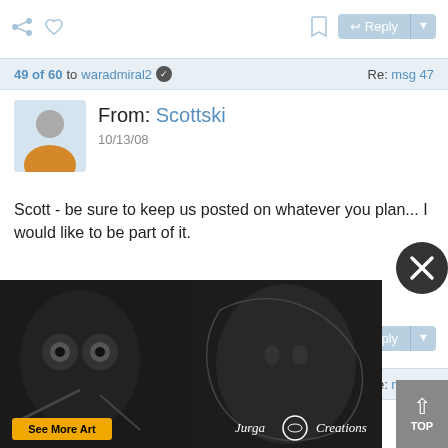49 of 60 to waradmiral2  Re: msg 47
From: Scottski
10/13/08
Scott - be sure to keep us posted on whatever you plan... I would like to be part of it.
50 of 60 to PunishAL  Re: msg 48
ral2)
[Figure (photo): Advertisement overlay showing artwork with owls and a man's face, Jurga Creations logo, See More Art button, and a close X button]
TOP